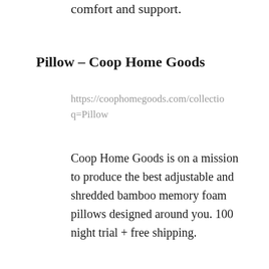comfort and support.
Pillow – Coop Home Goods
https://coophomegoods.com/collectio q=Pillow
Coop Home Goods is on a mission to produce the best adjustable and shredded bamboo memory foam pillows designed around you. 100 night trial + free shipping.